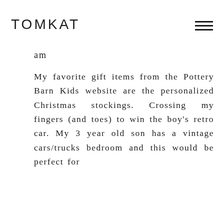TOMKAT
am
My favorite gift items from the Pottery Barn Kids website are the personalized Christmas stockings. Crossing my fingers (and toes) to win the boy's retro car. My 3 year old son has a vintage cars/trucks bedroom and this would be perfect for